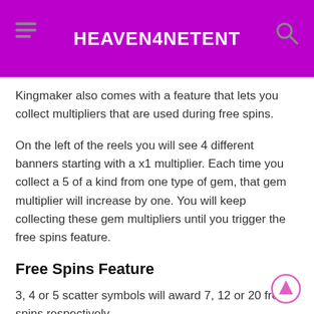HEAVEN4NETENT
Kingmaker also comes with a feature that lets you collect multipliers that are used during free spins.
On the left of the reels you will see 4 different banners starting with a x1 multiplier. Each time you collect a 5 of a kind from one type of gem, that gem multiplier will increase by one. You will keep collecting these gem multipliers until you trigger the free spins feature.
Free Spins Feature
3, 4 or 5 scatter symbols will award 7, 12 or 20 free spins respectively.
Before free spins start all collected gem multipliers will be